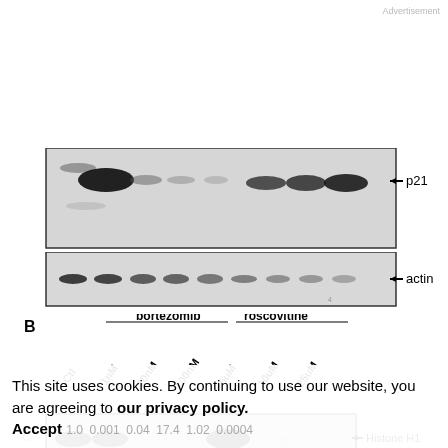Advertisement
[Figure (photo): Western blot showing p21 protein expression with bands across multiple lanes (Ctl, 1nM, 10nM, 100nM, 5uM, 10uM, 25uM) for bortezomib and roscovitine treatments. Arrow label: p21]
[Figure (photo): Western blot showing actin loading control with bands across multiple lanes. Arrow label: actin]
B
[Figure (photo): Western blot panel B showing bortezomib (1nM, 10nM, 100nM) and roscovitine (5uM, 10uM, 25uM) treatment lanes with Ctl. Arrow label: Histone H1. Diagonal labels for Ctl, 1nM, 10nM, 100nM, 5uM, 10uM, 25uM. Underlines for bortezomib and roscovitine groups.]
This site uses cookies. By continuing to use our website, you are agreeing to our privacy policy. Accept
1.0  0.001  0.04  17.4  1.02  0.0004
C